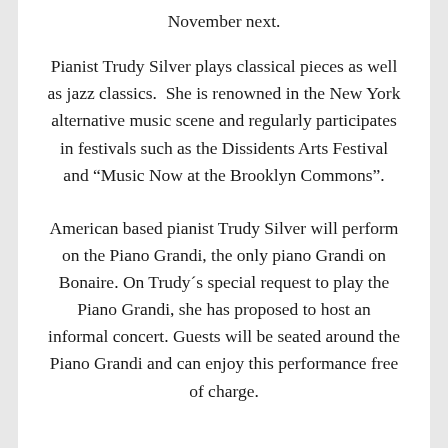November next.
Pianist Trudy Silver plays classical pieces as well as jazz classics.  She is renowned in the New York alternative music scene and regularly participates in festivals such as the Dissidents Arts Festival and “Music Now at the Brooklyn Commons”.
American based pianist Trudy Silver will perform on the Piano Grandi, the only piano Grandi on Bonaire. On Trudy´s special request to play the Piano Grandi, she has proposed to host an informal concert. Guests will be seated around the Piano Grandi and can enjoy this performance free of charge.